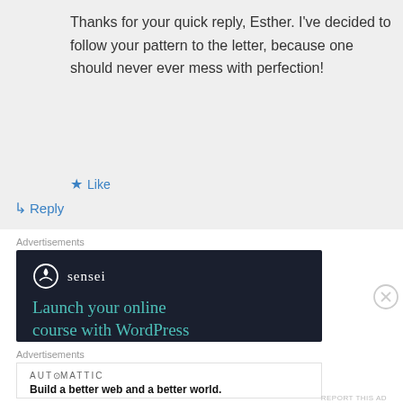Thanks for your quick reply, Esther. I've decided to follow your pattern to the letter, because one should never ever mess with perfection!
★ Like
↳ Reply
Advertisements
[Figure (other): Sensei advertisement banner: dark background with Sensei logo and text 'Launch your online course with WordPress']
Advertisements
[Figure (other): Automattic advertisement: 'Build a better web and a better world.']